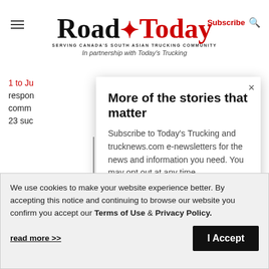Road Today — SERVING CANADA'S SOUTH ASIAN TRUCKING COMMUNITY — In partnership with Today's Trucking
1 to Ju respon comm 23 suc
[Figure (screenshot): Modal popup: 'More of the stories that matter' — Subscribe to Today's Trucking and trucknews.com e-newsletters for the news and information you need. You may opt out at any time. Email input field.]
We use cookies to make your website experience better. By accepting this notice and continuing to browse our website you confirm you accept our Terms of Use & Privacy Policy.
read more >> | I Accept